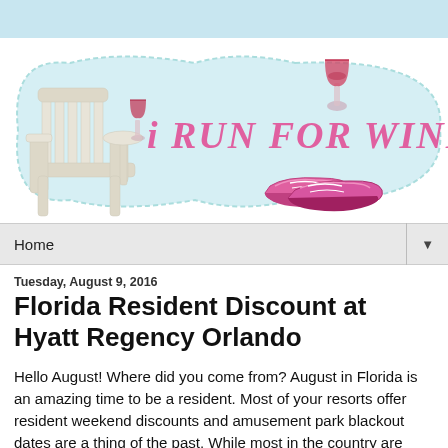[Figure (illustration): Blog header logo for 'I Run For Wine' — shows a white Adirondack chair with a wine glass on the armrest and pink running shoes in front, overlaid on a light teal decorative label shape with the text 'i RUN FOR WINE' in pink handwritten font.]
Home ▼
Tuesday, August 9, 2016
Florida Resident Discount at Hyatt Regency Orlando
Hello August! Where did you come from? August in Florida is an amazing time to be a resident. Most of your resorts offer resident weekend discounts and amusement park blackout dates are a thing of the past. While most in the country are getting ready for the kids to go back to school, the locals are able to take advantage and extend their summer a few…